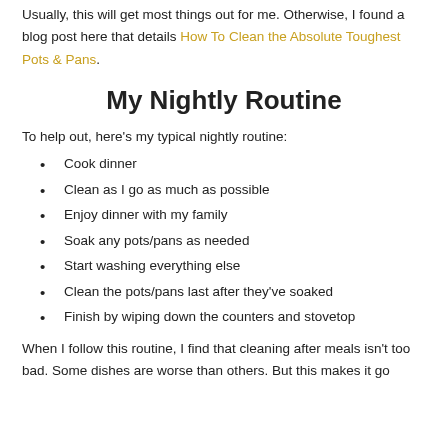Usually, this will get most things out for me. Otherwise, I found a blog post here that details How To Clean the Absolute Toughest Pots & Pans.
My Nightly Routine
To help out, here's my typical nightly routine:
Cook dinner
Clean as I go as much as possible
Enjoy dinner with my family
Soak any pots/pans as needed
Start washing everything else
Clean the pots/pans last after they've soaked
Finish by wiping down the counters and stovetop
When I follow this routine, I find that cleaning after meals isn't too bad. Some dishes are worse than others. But this makes it go